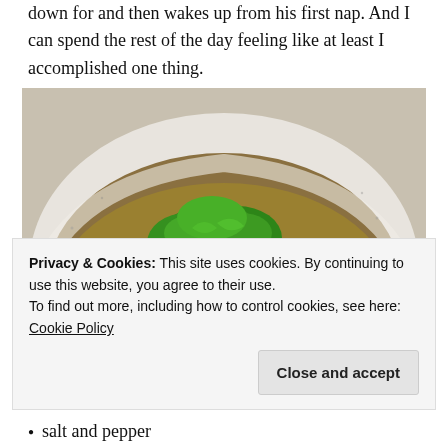down for and then wakes up from his first nap. And I can spend the rest of the day feeling like at least I accomplished one thing.
[Figure (photo): A white speckled ceramic bowl filled with shredded chicken stew with white beans and topped with fresh cilantro leaves, in a green-brown broth.]
Privacy & Cookies: This site uses cookies. By continuing to use this website, you agree to their use.
To find out more, including how to control cookies, see here: Cookie Policy

Close and accept
salt and pepper